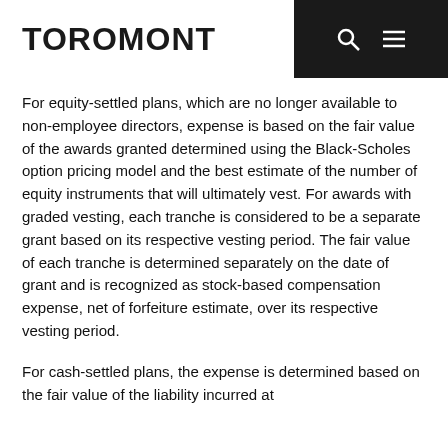TOROMONT
For equity-settled plans, which are no longer available to non-employee directors, expense is based on the fair value of the awards granted determined using the Black-Scholes option pricing model and the best estimate of the number of equity instruments that will ultimately vest. For awards with graded vesting, each tranche is considered to be a separate grant based on its respective vesting period. The fair value of each tranche is determined separately on the date of grant and is recognized as stock-based compensation expense, net of forfeiture estimate, over its respective vesting period.
For cash-settled plans, the expense is determined based on the fair value of the liability incurred at